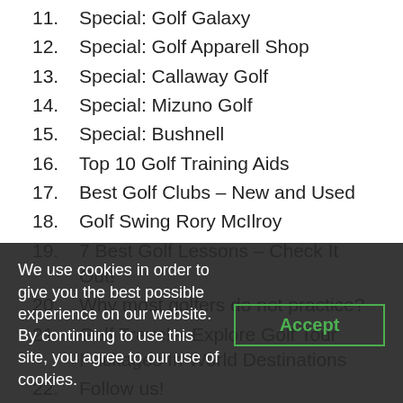11. Special: Golf Galaxy
12. Special: Golf Apparell Shop
13. Special: Callaway Golf
14. Special: Mizuno Golf
15. Special: Bushnell
16. Top 10 Golf Training Aids
17. Best Golf Clubs – New and Used
18. Golf Swing Rory McIlroy
19. 7 Best Golf Lessons – Check It Out!
20. Why most golfers do not practice?
21. Golf Travel – Explore Golf Tour Packages In World Destinations
22. Follow us!
23. We inform you about Golf – The most important daily…
We use cookies in order to give you the best possible experience on our website. By continuing to use this site, you agree to our use of cookies.